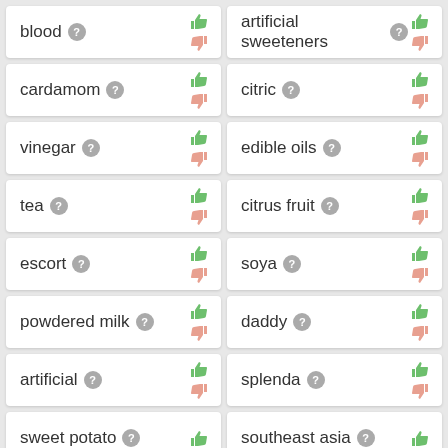blood
artificial sweeteners
cardamom
citric
vinegar
edible oils
tea
citrus fruit
escort
soya
powdered milk
daddy
artificial
splenda
sweet potato
southeast asia